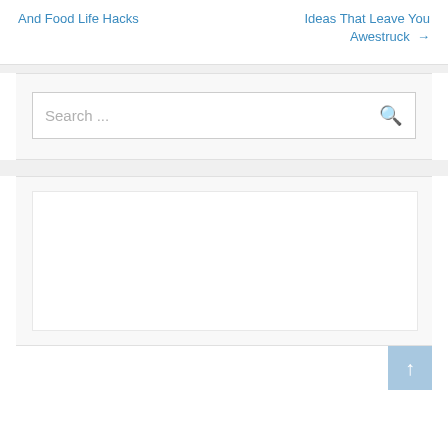And Food Life Hacks
Ideas That Leave You Awestruck →
Search ...
[Figure (other): White rectangle placeholder box for content/advertisement]